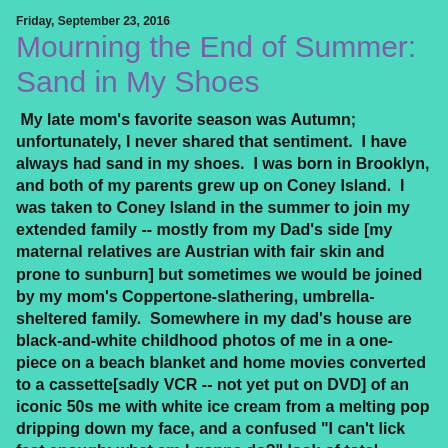Friday, September 23, 2016
Mourning the End of Summer: Sand in My Shoes
My late mom's favorite season was Autumn; unfortunately, I never shared that sentiment.  I have always had sand in my shoes.  I was born in Brooklyn, and both of my parents grew up on Coney Island.  I was taken to Coney Island in the summer to join my extended family -- mostly from my Dad's side [my maternal relatives are Austrian with fair skin and prone to sunburn] but sometimes we would be joined by my mom's Coppertone-slathering, umbrella-sheltered family.  Somewhere in my dad's house are black-and-white childhood photos of me in a one-piece on a beach blanket and home movies converted to a cassette[sadly VCR -- not yet put on DVD] of an iconic 50s me with white ice cream from a melting pop dripping down my face, and a confused "I can't lick fast enough; what am I gonna do?" look of total perplexion on my face.